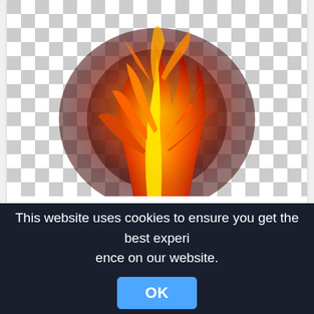[Figure (illustration): A fiery floral/flame illustration with orange and red flames forming leaves and swirls, displayed on a transparent (checkered) background.]
effect, Flame effects, Fire Light, orange, love, red flame illustration,warm png
2480x3508px
[Figure (screenshot): Partial second image card with checkered background.]
This website uses cookies to ensure you get the best experience on our website.